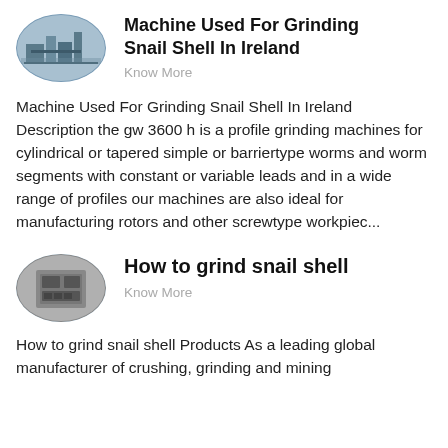[Figure (photo): Oval-shaped thumbnail image of an industrial facility or grinding plant]
Machine Used For Grinding Snail Shell In Ireland
Know More
Machine Used For Grinding Snail Shell In Ireland Description the gw 3600 h is a profile grinding machines for cylindrical or tapered simple or barriertype worms and worm segments with constant or variable leads and in a wide range of profiles our machines are also ideal for manufacturing rotors and other screwtype workpiec...
[Figure (photo): Oval-shaped thumbnail image of industrial equipment — appears to be a control panel or machine component]
How to grind snail shell
Know More
How to grind snail shell Products As a leading global manufacturer of crushing, grinding and mining